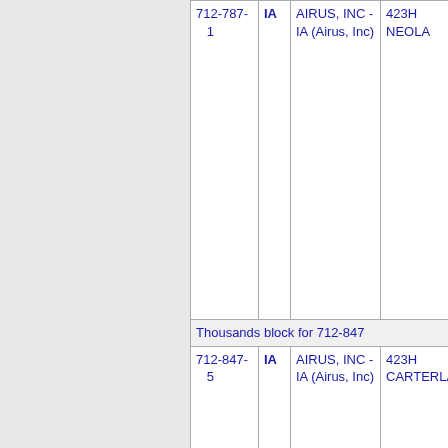| Number | State | Name | Code City |
| --- | --- | --- | --- |
| 712-787-1 | IA | AIRUS, INC - IA (Airus, Inc) | 423H NEOLA |
| Thousands block for 712-847 |  |  |  |
| 712-847-5 | IA | AIRUS, INC - IA (Airus, Inc) | 423H CARTERLAK |